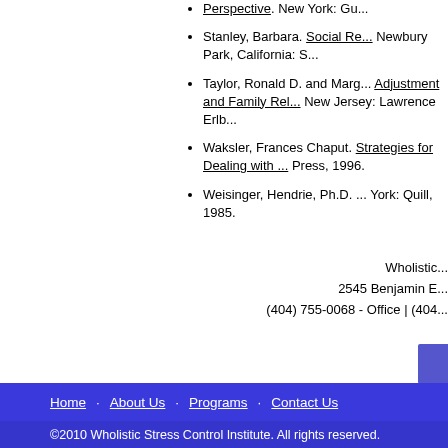Perspective. New York: Gu...
Stanley, Barbara. Social Re... Newbury Park, California: S...
Taylor, Ronald D. and Marg... Adjustment and Family Rel... New Jersey: Lawrence Erlb...
Waksler, Frances Chaput. Strategies for Dealing with ... Press, 1996.
Weisinger, Hendrie, Ph.D. ... York: Quill, 1985.
Wholistic
2545 Benjamin E...
(404) 755-0068 - Office | (404...
Home · About Us · Programs · Contact Us
©2010 Wholistic Stress Control Institute. All rights reserved.